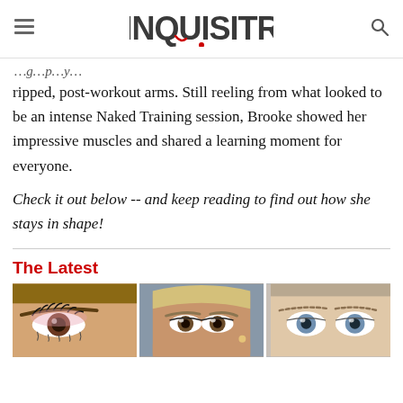INQUISITR
ripped, post-workout arms. Still reeling from what looked to be an intense Naked Training session, Brooke showed her impressive muscles and shared a learning moment for everyone.
Check it out below -- and keep reading to find out how she stays in shape!
The Latest
[Figure (photo): Close-up photo of a woman's eyes with dramatic eye makeup and lashes]
[Figure (photo): Close-up photo of a woman's face with short hair and subtle makeup]
[Figure (photo): Close-up photo of a person's eyes with sparse eyebrows]